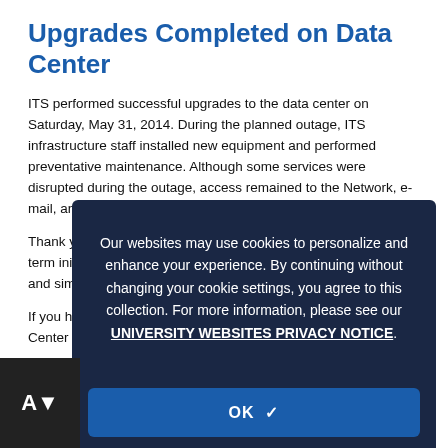Upgrades Completed on Data Center
ITS performed successful upgrades to the data center on Saturday, May 31, 2014. During the planned outage, ITS infrastructure staff installed new equipment and performed preventative maintenance. Although some services were disrupted during the outage, access remained to the Network, e-mail, and UConn websites.
Thank you for your patience. These upgrades are part of a long-term initiative to infrastructure that enhances the performance and simplifies systems and services.
If you have any questions please contact the Technology Support Center at servicedesk@uconn.edu.
[Figure (other): Cookie consent overlay dialog with dark navy background reading: Our websites may use cookies to personalize and enhance your experience. By continuing without changing your cookie settings, you agree to this collection. For more information, please see our UNIVERSITY WEBSITES PRIVACY NOTICE. With an OK button at the bottom.]
High Availability Shut down...
ITS has implemented infrastructure changes to permit high availability capabilities for our services.